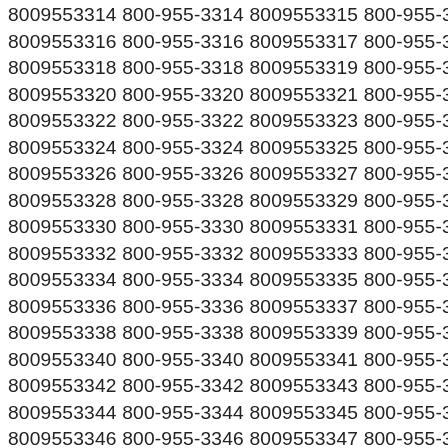8009553314 800-955-3314 8009553315 800-955-3315
8009553316 800-955-3316 8009553317 800-955-3317
8009553318 800-955-3318 8009553319 800-955-3319
8009553320 800-955-3320 8009553321 800-955-3321
8009553322 800-955-3322 8009553323 800-955-3323
8009553324 800-955-3324 8009553325 800-955-3325
8009553326 800-955-3326 8009553327 800-955-3327
8009553328 800-955-3328 8009553329 800-955-3329
8009553330 800-955-3330 8009553331 800-955-3331
8009553332 800-955-3332 8009553333 800-955-3333
8009553334 800-955-3334 8009553335 800-955-3335
8009553336 800-955-3336 8009553337 800-955-3337
8009553338 800-955-3338 8009553339 800-955-3339
8009553340 800-955-3340 8009553341 800-955-3341
8009553342 800-955-3342 8009553343 800-955-3343
8009553344 800-955-3344 8009553345 800-955-3345
8009553346 800-955-3346 8009553347 800-955-3347
8009553348 800-955-3348 8009553349 800-955-3349
8009553350 800-955-3350 8009553351 800-955-3351